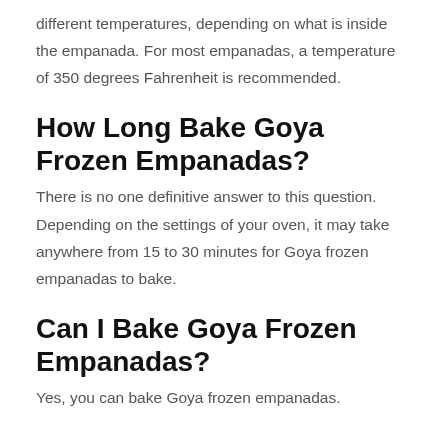different temperatures, depending on what is inside the empanada. For most empanadas, a temperature of 350 degrees Fahrenheit is recommended.
How Long Bake Goya Frozen Empanadas?
There is no one definitive answer to this question. Depending on the settings of your oven, it may take anywhere from 15 to 30 minutes for Goya frozen empanadas to bake.
Can I Bake Goya Frozen Empanadas?
Yes, you can bake Goya frozen empanadas.